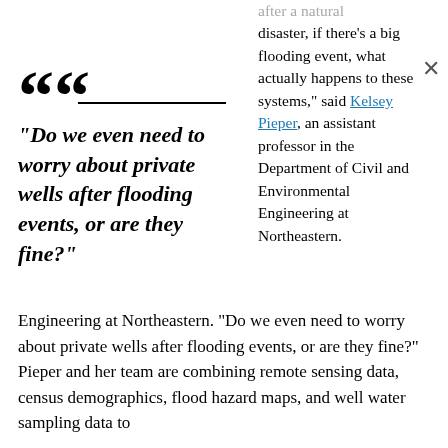“Do we even need to worry about private wells after flooding events, or are they fine?”
after a natural disaster, if there’s a big flooding event, what actually happens to these systems,” said Kelsey Pieper, an assistant professor in the Department of Civil and Environmental Engineering at Northeastern. “Do we even need to worry about private wells after flooding events, or are they fine?” Pieper and her team are combining remote sensing data, census demographics, flood hazard maps, and well water sampling data to
Engineering at Northeastern. “Do we even need to worry about private wells after flooding events, or are they fine?” Pieper and her team are combining remote sensing data, census demographics, flood hazard maps, and well water sampling data to